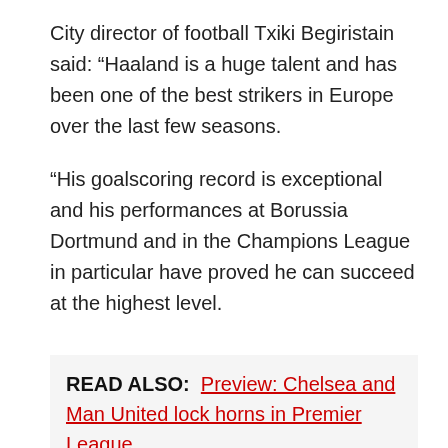City director of football Txiki Begiristain said: “Haaland is a huge talent and has been one of the best strikers in Europe over the last few seasons.
“His goalscoring record is exceptional and his performances at Borussia Dortmund and in the Champions League in particular have proved he can succeed at the highest level.
READ ALSO: Preview: Chelsea and Man United lock horns in Premier League
“Erling has everything we want in a striker, and we are certain he will excel in this squad and this system.”
The deal ends the club’s hunt for a successor to club-